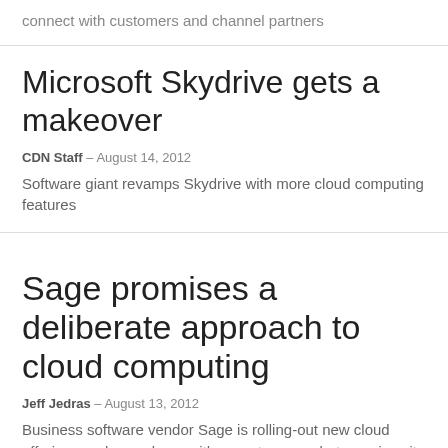connect with customers and channel partners
Microsoft Skydrive gets a makeover
CDN Staff – August 14, 2012
Software giant revamps Skydrive with more cloud computing features
Sage promises a deliberate approach to cloud computing
Jeff Jedras – August 13, 2012
Business software vendor Sage is rolling-out new cloud offerings and a roadmap with more to come, but promises it won't be rushing into the off-premise world